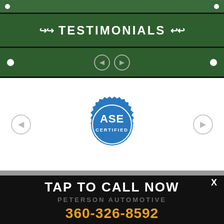TESTIMONIALS
[Figure (screenshot): Navigation arrows (left and right) inside green bar with white dots at corners]
[Figure (logo): ASE Certified badge logo in blue and white]
TAP TO CALL NOW
PETERSON AUTOMOTIVE
360-326-8592
Auto Repair Services